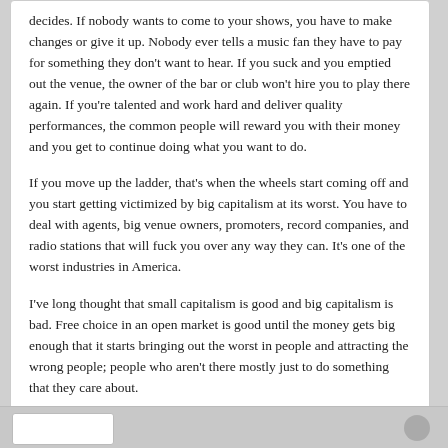decides. If nobody wants to come to your shows, you have to make changes or give it up. Nobody ever tells a music fan they have to pay for something they don't want to hear. If you suck and you emptied out the venue, the owner of the bar or club won't hire you to play there again. If you're talented and work hard and deliver quality performances, the common people will reward you with their money and you get to continue doing what you want to do.
If you move up the ladder, that's when the wheels start coming off and you start getting victimized by big capitalism at its worst. You have to deal with agents, big venue owners, promoters, record companies, and radio stations that will fuck you over any way they can. It's one of the worst industries in America.
I've long thought that small capitalism is good and big capitalism is bad. Free choice in an open market is good until the money gets big enough that it starts bringing out the worst in people and attracting the wrong people; people who aren't there mostly just to do something that they care about.